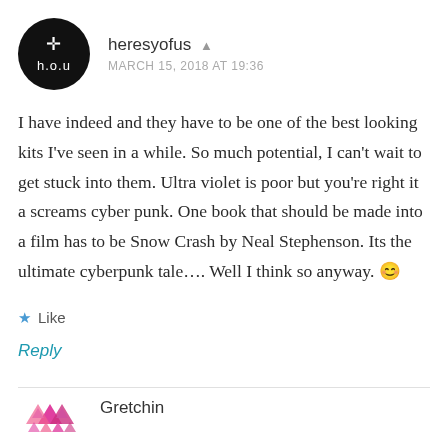heresyofus — MARCH 15, 2018 AT 19:36
I have indeed and they have to be one of the best looking kits I've seen in a while. So much potential, I can't wait to get stuck into them. Ultra violet is poor but you're right it a screams cyber punk. One book that should be made into a film has to be Snow Crash by Neal Stephenson. Its the ultimate cyberpunk tale…. Well I think so anyway. 😊
Like
Reply
Gretchin